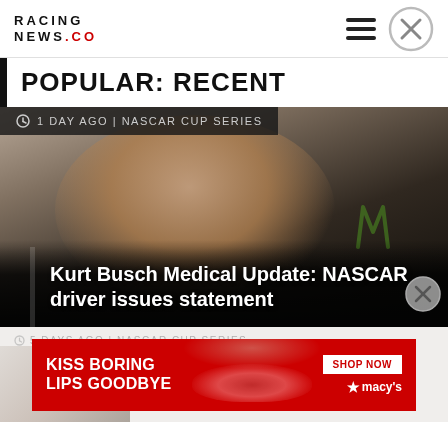RACING NEWS .CO
POPULAR: RECENT
[Figure (photo): Close-up photo of Kurt Busch wearing a Monster Energy jacket, looking to the side. Dark, dramatic lighting.]
1 DAY AGO | NASCAR CUP SERIES
Kurt Busch Medical Update: NASCAR driver issues statement
[Figure (photo): Partially visible thumbnail for second article about Ross Chastain]
5 DAYS AGO | NASCAR CUP SERIES
spun by Ross Chastain (Video)
[Figure (other): Macy's advertisement banner: KISS BORING LIPS GOODBYE with SHOP NOW button and Macy's logo, featuring woman with red lips]